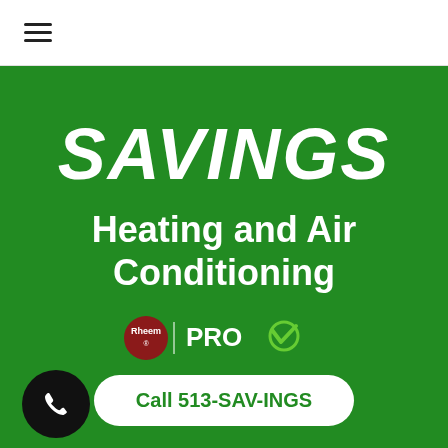≡ (hamburger menu icon)
SAVINGS
Heating and Air Conditioning
[Figure (logo): Rheem PRO logo — Rheem circular red logo on left, 'I PRO' text with green checkmark on right]
Call 513-SAV-INGS